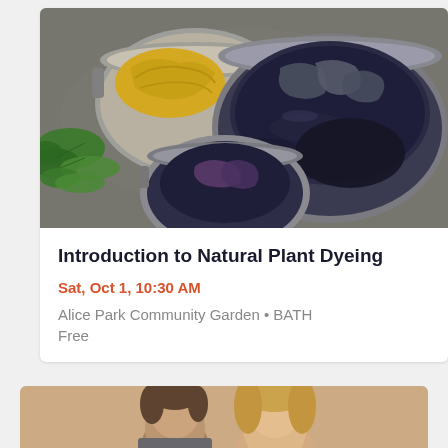[Figure (photo): Overhead view of three metal pots containing fabric being dyed in dark blue/indigo liquid, with yellow fabric in one pot and green leaves visible. Natural plant dyeing workshop scene.]
Introduction to Natural Plant Dyeing
Sat, Oct 1, 10:30 AM
Alice Park Community Garden • BATH
Free
[Figure (photo): Partial view of two people (a man and a woman) smiling, cropped at the bottom of the page.]